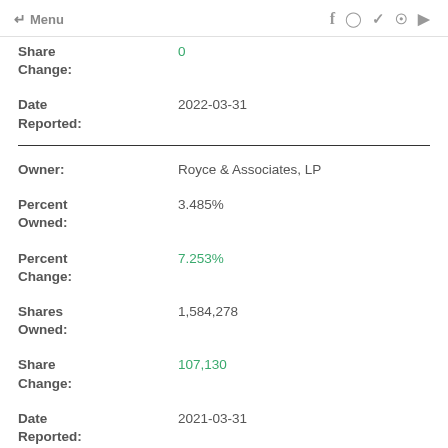← Menu  f  Instagram  Twitter  Pinterest  YouTube
Share Change: 0
Date Reported: 2022-03-31
Owner: Royce & Associates, LP
Percent Owned: 3.485%
Percent Change: 7.253%
Shares Owned: 1,584,278
Share Change: 107,130
Date Reported: 2021-03-31